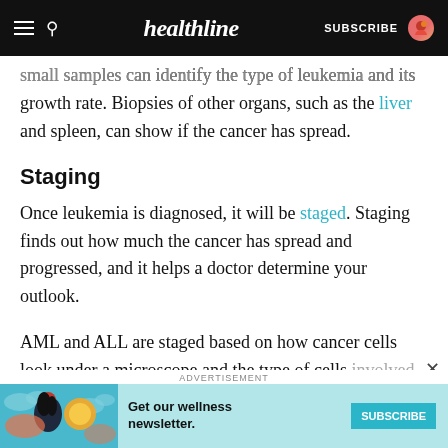healthline — SUBSCRIBE
small samples can identify the type of leukemia and its growth rate. Biopsies of other organs, such as the liver and spleen, can show if the cancer has spread.
Staging
Once leukemia is diagnosed, it will be staged. Staging finds out how much the cancer has spread and progressed, and it helps a doctor determine your outlook.
AML and ALL are staged based on how cancer cells look under a microscope and the type of cells involved. ALL and CLL are staged based on the WBC...
[Figure (screenshot): Advertisement banner: Get our wellness newsletter with SUBSCRIBE button, colorful illustration of woman with teal clouds background]